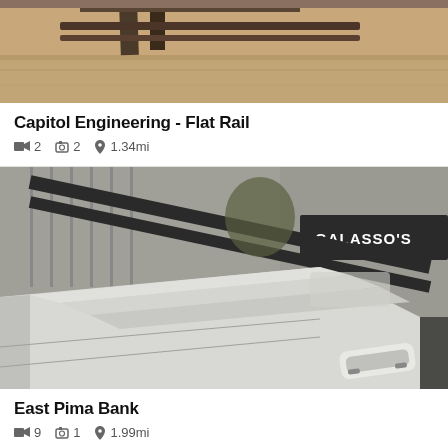[Figure (photo): Partial view of a flat rail at Capitol Engineering skate spot — sandy/concrete ground with metal rail structure visible at top]
Capitol Engineering - Flat Rail
2 videos  2 photos  1.34mi
[Figure (photo): East Pima Bank skate spot — concrete bank ledges with metal rails on top, skateboard on ground, Galasso's sign visible in background]
East Pima Bank
9 videos  1 photo  1.99mi